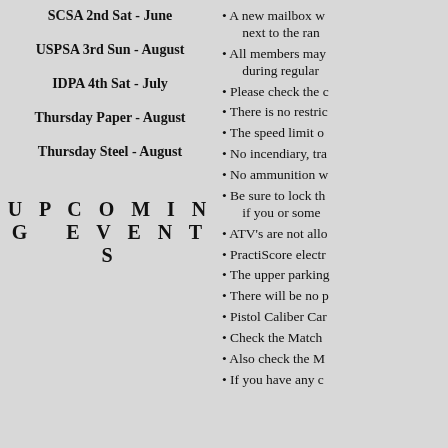SCSA 2nd Sat - June
USPSA 3rd Sun - August
IDPA 4th Sat - July
Thursday Paper - August
Thursday Steel - August
UPCOMING EVENTS
A new mailbox w... next to the ran
All members may... during regular
Please check the c
There is no restric
The speed limit o
No incendiary, tra
No ammunition w
Be sure to lock th... if you or some
ATV's are not allo
PractiScore electr
The upper parking
There will be no p
Pistol Caliber Car
Check the Match
Also check the M
If you have any c